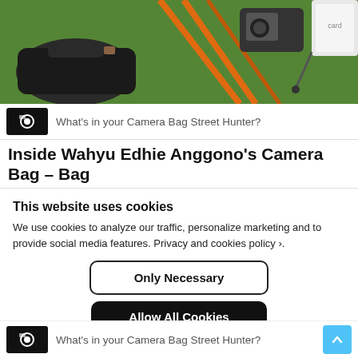[Figure (photo): A camera bag, tripod with orange straps, and camera accessories laid out on green grass]
What’s in your Camera Bag Street Hunter?
Inside Wahyu Edhie Anggono’s Camera Bag – Bag
This website uses cookies
We use cookies to analyze our traffic, personalize marketing and to provide social media features. Privacy and cookies policy ›.
Only Necessary
Allow All Cookies
Configure Settings ›
What’s in your Camera Bag Street Hunter?